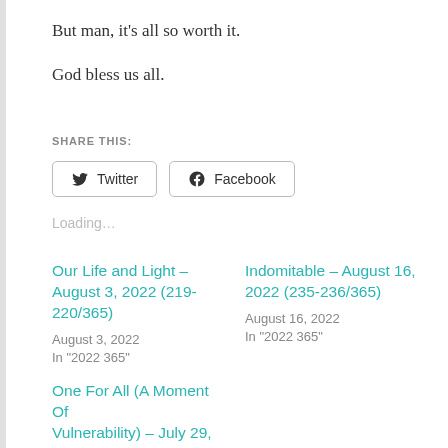But man, it's all so worth it.
God bless us all.
SHARE THIS:
Twitter  Facebook (social share buttons)
Loading…
Our Life and Light – August 3, 2022 (219-220/365)
August 3, 2022
In "2022 365"
Indomitable – August 16, 2022 (235-236/365)
August 16, 2022
In "2022 365"
One For All (A Moment Of Vulnerability) – July 29,